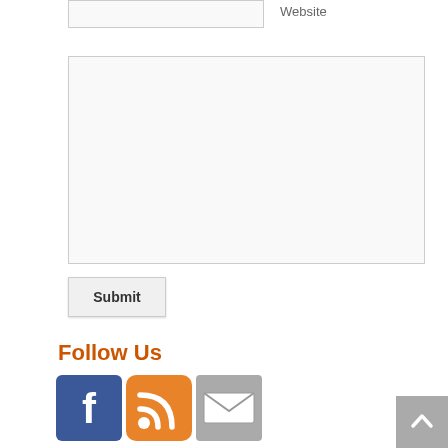Website
[Figure (screenshot): A large text area input box for comment or message entry]
[Figure (screenshot): Submit button]
Follow Us
[Figure (infographic): Social media icons: Facebook (blue square with white F), RSS feed (orange rounded square with white signal icon), Email (grey square with envelope icon). A grey scroll-to-top button with white chevron is in the bottom right corner.]